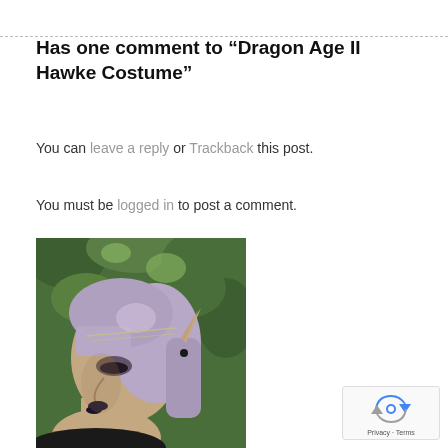Has one comment to “Dragon Age II Hawke Costume”
You can leave a reply or Trackback this post.
You must be logged in to post a comment.
[Figure (photo): Side profile photo of a cosplayer with purple/lavender hair, pointed elf ears prosthetic, a chain headpiece, dark eye makeup and dark lipstick, with green foliage in the background.]
[Figure (logo): reCAPTCHA badge showing the reCAPTCHA arrow logo with Privacy and Terms links below.]